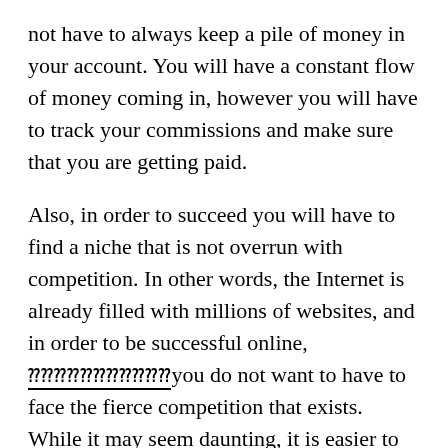not have to always keep a pile of money in your account. You will have a constant flow of money coming in, however you will have to track your commissions and make sure that you are getting paid.
Also, in order to succeed you will have to find a niche that is not overrun with competition. In other words, the Internet is already filled with millions of websites, and in order to be successful online, [corrupted text]you do not want to have to face the fierce competition that exists. While it may seem daunting, it is easier to find a product that is doing well for others than it is to try to reinvent the wheel and be all yourself.
briminks is a website that offers its members an opportunity to make money by promoting five